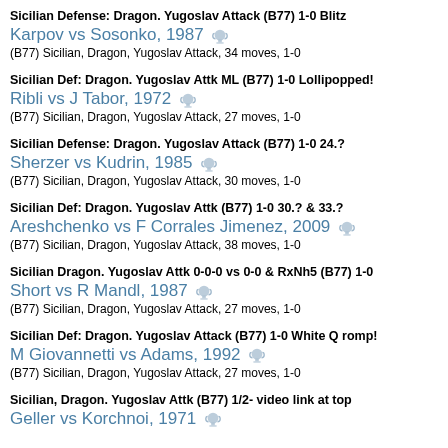Sicilian Defense: Dragon. Yugoslav Attack (B77) 1-0 Blitz
Karpov vs Sosonko, 1987
(B77) Sicilian, Dragon, Yugoslav Attack, 34 moves, 1-0
Sicilian Def: Dragon. Yugoslav Attk ML (B77) 1-0 Lollipopped!
Ribli vs J Tabor, 1972
(B77) Sicilian, Dragon, Yugoslav Attack, 27 moves, 1-0
Sicilian Defense: Dragon. Yugoslav Attack (B77) 1-0 24.?
Sherzer vs Kudrin, 1985
(B77) Sicilian, Dragon, Yugoslav Attack, 30 moves, 1-0
Sicilian Def: Dragon. Yugoslav Attk (B77) 1-0 30.? & 33.?
Areshchenko vs F Corrales Jimenez, 2009
(B77) Sicilian, Dragon, Yugoslav Attack, 38 moves, 1-0
Sicilian Dragon. Yugoslav Attk 0-0-0 vs 0-0 & RxNh5 (B77) 1-0
Short vs R Mandl, 1987
(B77) Sicilian, Dragon, Yugoslav Attack, 27 moves, 1-0
Sicilian Def: Dragon. Yugoslav Attack (B77) 1-0 White Q romp!
M Giovannetti vs Adams, 1992
(B77) Sicilian, Dragon, Yugoslav Attack, 27 moves, 1-0
Sicilian, Dragon. Yugoslav Attk (B77) 1/2- video link at top
Geller vs Korchnoi, 1971